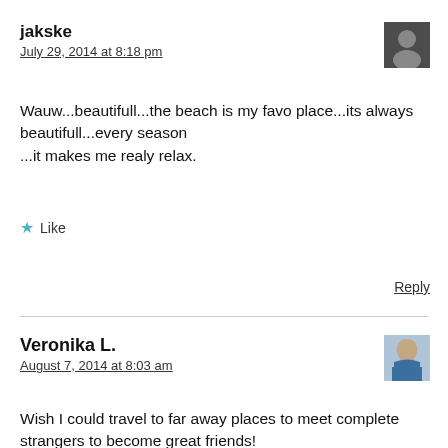jakske
July 29, 2014 at 8:18 pm
[Figure (photo): Small square avatar photo of a person, dark toned image]
Wauw...beautifull...the beach is my favo place...its always beautifull...every season
...it makes me realy relax.
★ Like
Reply
Veronika L.
August 7, 2014 at 8:03 am
[Figure (photo): Small square avatar photo of a young woman with long brown hair]
Wish I could travel to far away places to meet complete strangers to become great friends!